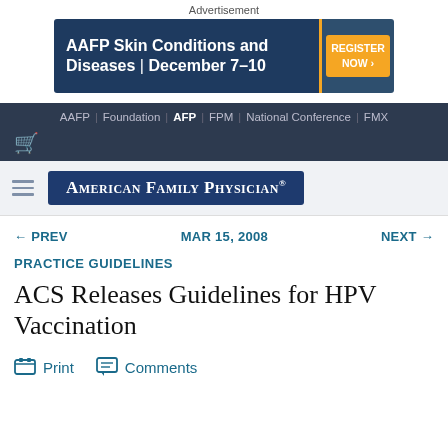Advertisement
[Figure (other): AAFP Skin Conditions and Diseases | December 7-10 banner advertisement with Register Now button]
AAFP | Foundation | AFP | FPM | National Conference | FMX
[Figure (logo): American Family Physician logo with hamburger menu icon]
← PREV   MAR 15, 2008   NEXT →
PRACTICE GUIDELINES
ACS Releases Guidelines for HPV Vaccination
Print  Comments